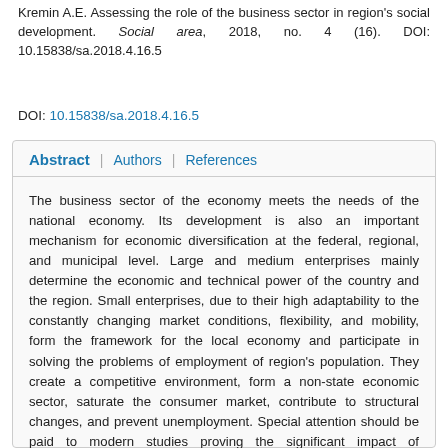Kremin A.E. Assessing the role of the business sector in region's social development. Social area, 2018, no. 4 (16). DOI: 10.15838/sa.2018.4.16.5
DOI: 10.15838/sa.2018.4.16.5
Abstract | Authors | References
The business sector of the economy meets the needs of the national economy. Its development is also an important mechanism for economic diversification at the federal, regional, and municipal level. Large and medium enterprises mainly determine the economic and technical power of the country and the region. Small enterprises, due to their high adaptability to the constantly changing market conditions, flexibility, and mobility, form the framework for the local economy and participate in solving the problems of employment of region's population. They create a competitive environment, form a non-state economic sector, saturate the consumer market, contribute to structural changes, and prevent unemployment. Special attention should be paid to modern studies proving the significant impact of development of this economic sector on population's welfare and standard